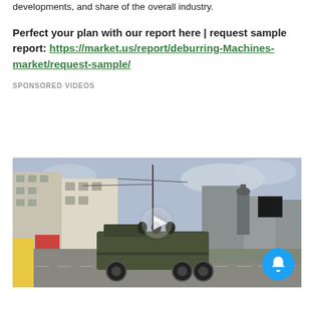developments, and share of the overall industry.
Perfect your plan with our report here | request sample report: https://market.us/report/deburring-Machines-market/request-sample/
SPONSORED VIDEOS
[Figure (photo): Video thumbnail showing military trucks on a city street with buildings and a statue/billboard in the background. A play button overlay is centered on the image, and a blue notification bell button is in the bottom right corner.]